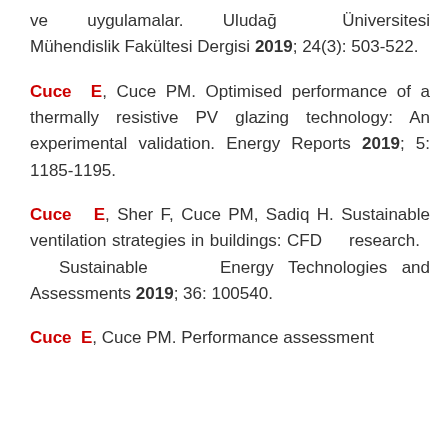ve uygulamalar. Uludağ Üniversitesi Mühendislik Fakültesi Dergisi 2019; 24(3): 503-522.
Cuce E, Cuce PM. Optimised performance of a thermally resistive PV glazing technology: An experimental validation. Energy Reports 2019; 5: 1185-1195.
Cuce E, Sher F, Cuce PM, Sadiq H. Sustainable ventilation strategies in buildings: CFD research. Sustainable Energy Technologies and Assessments 2019; 36: 100540.
Cuce E, Cuce PM. Performance assessment